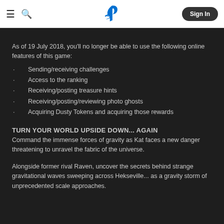PlayStation header with hamburger menu, search icon, PS logo, and Sign In button
As of 19 July 2018, you'll no longer be able to use the following online features of this game:
Sending/receiving challenges
Access to the ranking
Receiving/posting treasure hints
Receiving/posting/reviewing photo ghosts
Acquiring Dusty Tokens and acquiring those rewards
TURN YOUR WORLD UPSIDE DOWN... AGAIN
Command the immense forces of gravity as Kat faces a new danger threatening to unravel the fabric of the universe.
Alongside former rival Raven, uncover the secrets behind strange gravitational waves sweeping across Hekseville... as a gravity storm of unprecedented scale approaches.